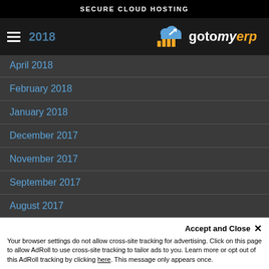SECURE CLOUD HOSTING
[Figure (logo): gotomyerp logo with cloud and bar chart icon, text reads 'gotomyerp']
April 2018
February 2018
January 2018
December 2017
November 2017
September 2017
August 2017
February 2017
Accept and Close ✕
Your browser settings do not allow cross-site tracking for advertising. Click on this page to allow AdRoll to use cross-site tracking to tailor ads to you. Learn more or opt out of this AdRoll tracking by clicking here. This message only appears once.